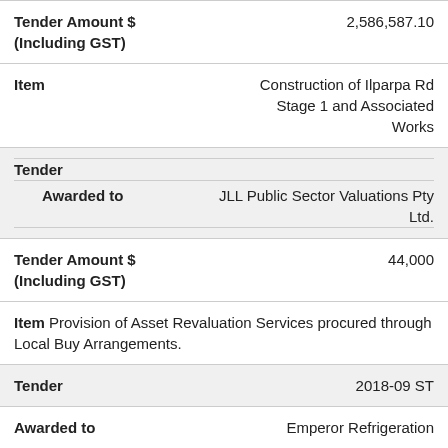| Tender Amount $ (Including GST) | 2,586,587.10 |
| Item | Construction of Ilparpa Rd Stage 1 and Associated Works |
| Tender
Awarded to | JLL Public Sector Valuations Pty Ltd. |
| Tender Amount $ (Including GST) | 44,000 |
| Item | Provision of Asset Revaluation Services procured through Local Buy Arrangements. |
| Tender | 2018-09 ST |
| Awarded to | Emperor Refrigeration |
| Tender Amount $ (Including GST) | 598,399 |